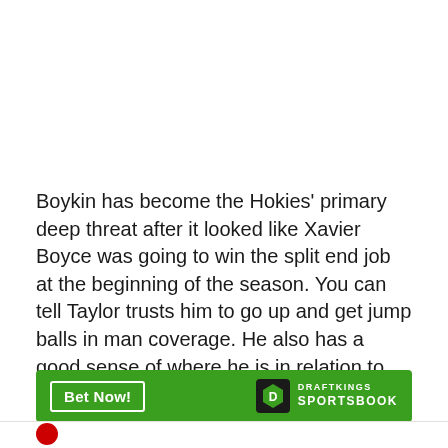Boykin has become the Hokies' primary deep threat after it looked like Xavier Boyce was going to win the split end job at the beginning of the season. You can tell Taylor trusts him to go up and get jump balls in man coverage. He also has a good sense of where he is in relation to the sideline and good body control when in the air.
[Figure (other): DraftKings Sportsbook advertisement banner with green background, 'Bet Now!' button on left and DraftKings Sportsbook logo on right]